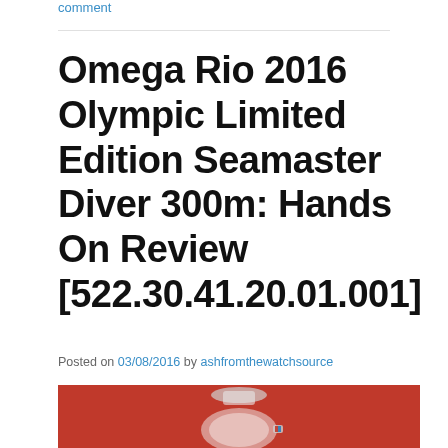comment
Omega Rio 2016 Olympic Limited Edition Seamaster Diver 300m: Hands On Review [522.30.41.20.01.001]
Posted on 03/08/2016 by ashfromthewatchsource
[Figure (photo): Photo of Omega Seamaster Diver watch on red background, partially visible at bottom of page]